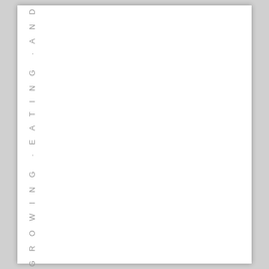A. WHAT WE'RE GROWING, EATING, AND